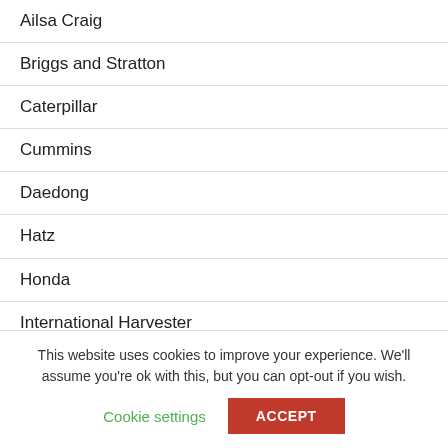Ailsa Craig
Briggs and Stratton
Caterpillar
Cummins
Daedong
Hatz
Honda
International Harvester
Kama
Kawasaki
This website uses cookies to improve your experience. We'll assume you're ok with this, but you can opt-out if you wish.
Cookie settings
ACCEPT